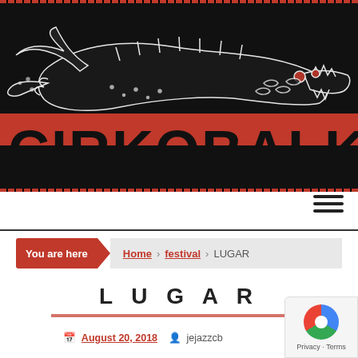[Figure (logo): CirkoBalkana festival logo with dark background showing a crocodile/alligator illustration with fish and decorative elements. Large bold text 'CIRKOBALKANA' overlaid with a red horizontal stripe. Decorative border pattern of repeating red and black elements at top and bottom.]
You are here  Home  festival  LUGAR
L U G A R
August 20, 2018  jejazzcb